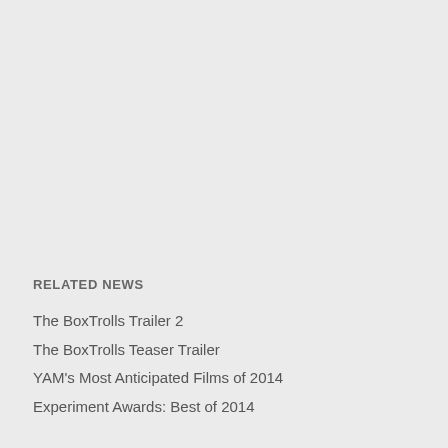RELATED NEWS
The BoxTrolls Trailer 2
The BoxTrolls Teaser Trailer
YAM's Most Anticipated Films of 2014
Experiment Awards: Best of 2014